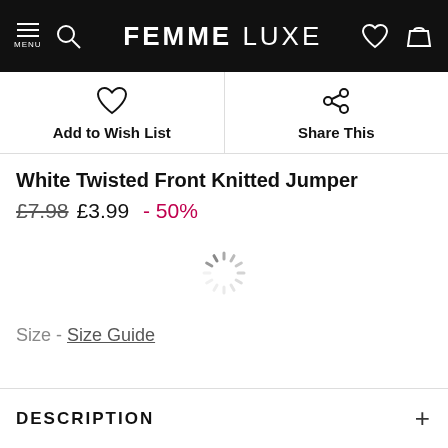FEMME LUXE
Add to Wish List
Share This
White Twisted Front Knitted Jumper
£7.98 £3.99 - 50%
[Figure (other): Loading spinner]
Size - Size Guide
DESCRIPTION